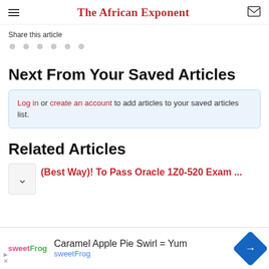The African Exponent
Share this article
Next From Your Saved Articles
Log in or create an account to add articles to your saved articles list.
Related Articles
(Best Way)! To Pass Oracle 1Z0-520 Exam ...
[Figure (screenshot): Advertisement banner for sweetFrog: Caramel Apple Pie Swirl = Yum with sweetFrog branding and navigation arrow icon]